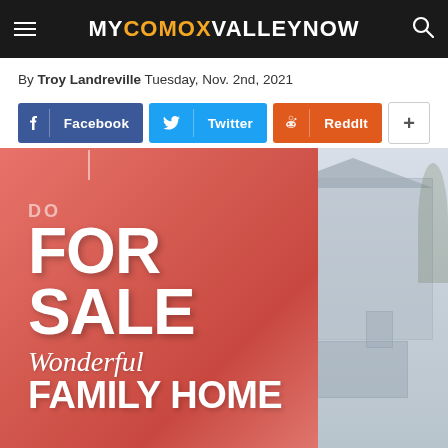MY COMOX VALLEY NOW
By Troy Landreville Tuesday, Nov. 2nd, 2021
[Figure (screenshot): Social sharing buttons: Facebook (blue), Twitter (cyan), ReddIt (orange-red), and a plus button]
[Figure (photo): A red 'FOR SALE – Wonderful Family Home' real estate sign in the foreground with a house visible in the background]